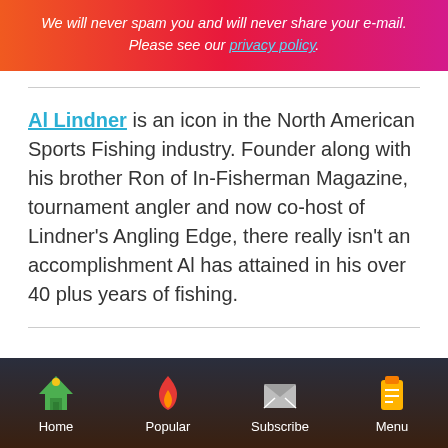We will never spam you and will never share your e-mail. Please see our privacy policy.
Al Lindner is an icon in the North American Sports Fishing industry. Founder along with his brother Ron of In-Fisherman Magazine, tournament angler and now co-host of Lindner's Angling Edge, there really isn't an accomplishment Al has attained in his over 40 plus years of fishing.
Home | Popular | Subscribe | Menu